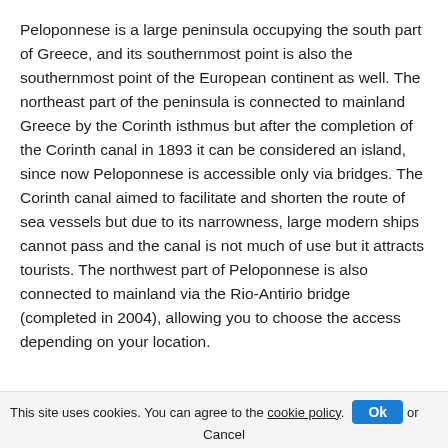Peloponnese is a large peninsula occupying the south part of Greece, and its southernmost point is also the southernmost point of the European continent as well. The northeast part of the peninsula is connected to mainland Greece by the Corinth isthmus but after the completion of the Corinth canal in 1893 it can be considered an island, since now Peloponnese is accessible only via bridges. The Corinth canal aimed to facilitate and shorten the route of sea vessels but due to its narrowness, large modern ships cannot pass and the canal is not much of use but it attracts tourists. The northwest part of Peloponnese is also connected to mainland via the Rio-Antirio bridge (completed in 2004), allowing you to choose the access depending on your location.
This site uses cookies. You can agree to the cookie policy. Ok or Cancel